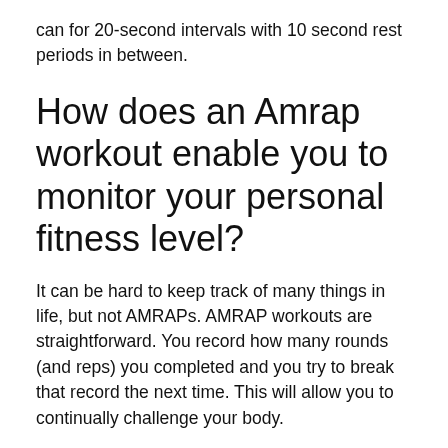can for 20-second intervals with 10 second rest periods in between.
How does an Amrap workout enable you to monitor your personal fitness level?
It can be hard to keep track of many things in life, but not AMRAPs. AMRAP workouts are straightforward. You record how many rounds (and reps) you completed and you try to break that record the next time. This will allow you to continually challenge your body.
What is Tabata HIIT?